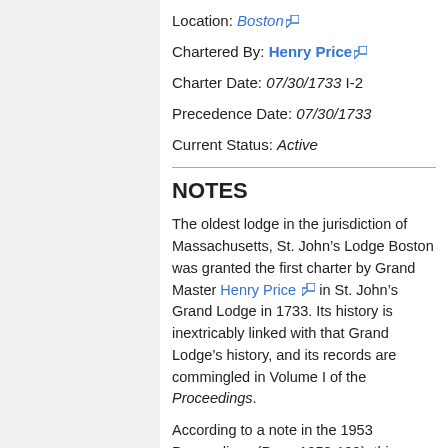Location: Boston
Chartered By: Henry Price
Charter Date: 07/30/1733 I-2
Precedence Date: 07/30/1733
Current Status: Active
NOTES
The oldest lodge in the jurisdiction of Massachusetts, St. John’s Lodge Boston was granted the first charter by Grand Master Henry Price in St. John’s Grand Lodge in 1733. Its history is inextricably linked with that Grand Lodge’s history, and its records are commingled in Volume I of the Proceedings.
According to a note in the 1953 Proceedings (Page 1953-199), this Lodge was formally called "First Lodge" until 1783, when "Second Lodge" was merged into it. (This would be the first recorded merger in the history of the Craft in Massachusetts.)
Fourth Estate Lodge merged here,